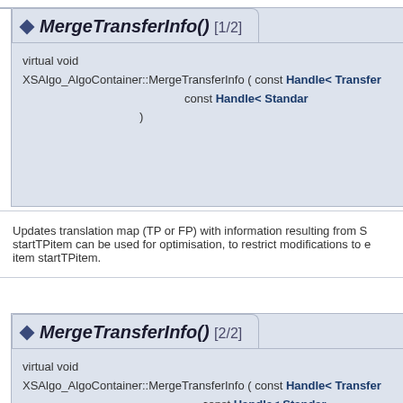MergeTransferInfo() [1/2]
virtual void
XSAlgo_AlgoContainer::MergeTransferInfo ( const Handle< Transfer... const Handle< Standard... )
Updates translation map (TP or FP) with information resulting from S... startTPitem can be used for optimisation, to restrict modifications to e... item startTPitem.
MergeTransferInfo() [2/2]
virtual void
XSAlgo_AlgoContainer::MergeTransferInfo ( const Handle< Transfer... const Handle< Standard...